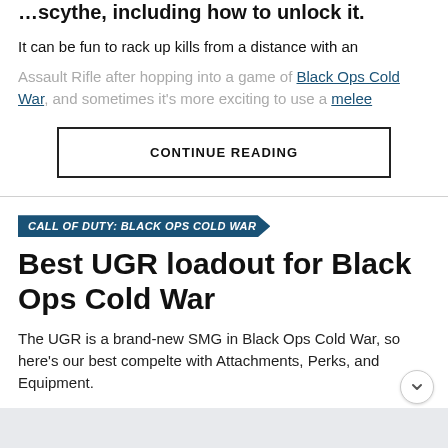…scythe, including how to unlock it.
It can be fun to rack up kills from a distance with an Assault Rifle after hopping into a game of Black Ops Cold War, and sometimes it's more exciting to use a melee
CONTINUE READING
CALL OF DUTY: BLACK OPS COLD WAR
Best UGR loadout for Black Ops Cold War
The UGR is a brand-new SMG in Black Ops Cold War, so here's our best compelte with Attachments, Perks, and Equipment.